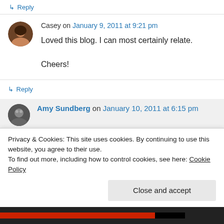↳ Reply
Casey on January 9, 2011 at 9:21 pm
Loved this blog. I can most certainly relate.

Cheers!
↳ Reply
Amy Sundberg on January 10, 2011 at 6:15 pm
Privacy & Cookies: This site uses cookies. By continuing to use this website, you agree to their use.
To find out more, including how to control cookies, see here: Cookie Policy
Close and accept